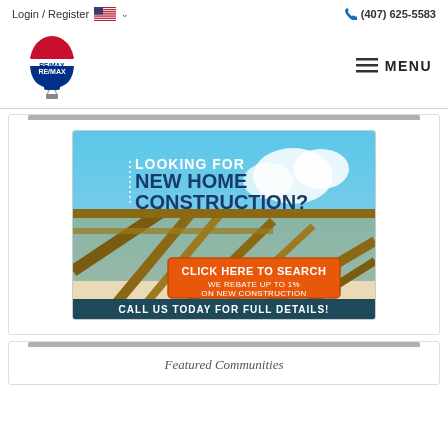Login / Register   (407) 625-5583
[Figure (logo): RE/MAX hot air balloon logo]
[Figure (infographic): New home construction advertisement banner. Text reads: LOOKING FOR NEW HOME CONSTRUCTION? CLICK HERE TO SEARCH WE REBATE UP TO 1% ON NEW CONSTRUCTION CALL US TODAY FOR FULL DETAILS!]
Featured Communities